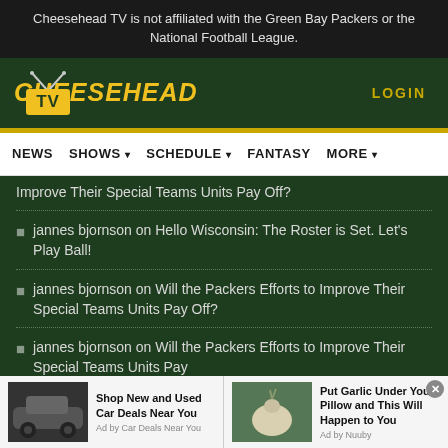Cheesehead TV is not affiliated with the Green Bay Packers or the National Football League.
[Figure (logo): Cheesehead TV logo with gold text and TV icon on dark green background, with LOGIN link on right]
NEWS  SHOWS  SCHEDULE  FANTASY  MORE
Improve Their Special Teams Units Pay Off?
jannes bjornson on Hello Wisconsin: The Roster is Set. Let's Play Ball!
jannes bjornson on Will the Packers Efforts to Improve Their Special Teams Units Pay Off?
jannes bjornson on Will the Packers Efforts to Improve Their Special Teams Units Pay
[Figure (infographic): Two advertisement units at bottom: 'Shop New and Used Car Deals Near You' by Car Deals Near You, and 'Put Garlic Under Your Pillow and This Will Happen to You' by Nuuby]